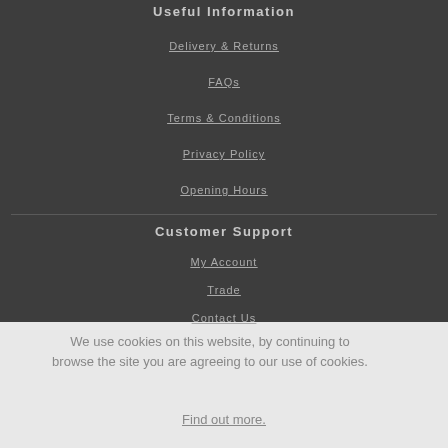Useful Information
Delivery & Returns
FAQs
Terms & Conditions
Privacy Policy
Opening Hours
Customer Support
My Account
Trade
Contact Us
We use cookies on this website, by continuing to browse the site you are agreeing to our use of cookies.
Find out more.